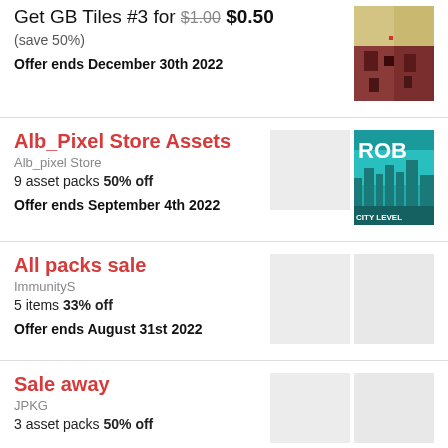Get GB Tiles #3 for $1.00 $0.50 (save 50%)
Offer ends December 30th 2022
Alb_Pixel Store Assets
Alb_pixel Store
9 asset packs 50% off
Offer ends September 4th 2022
All packs sale
ImmunityS
5 items 33% off
Offer ends August 31st 2022
Sale away
JPKG
3 asset packs 50% off